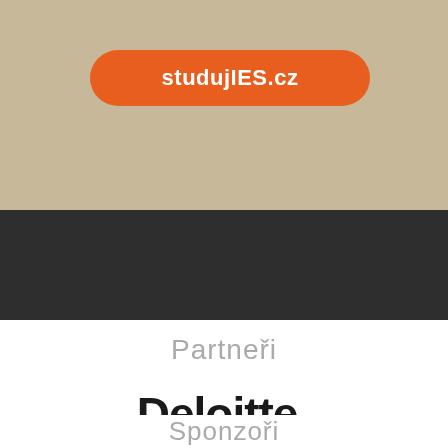[Figure (logo): Orange rounded pill-shaped button with white bold text reading 'studujIES.cz' on a beige/tan textured background]
Partneři
[Figure (logo): Deloitte logo in bold black text with a green dot after the final 'e']
Sponzoři